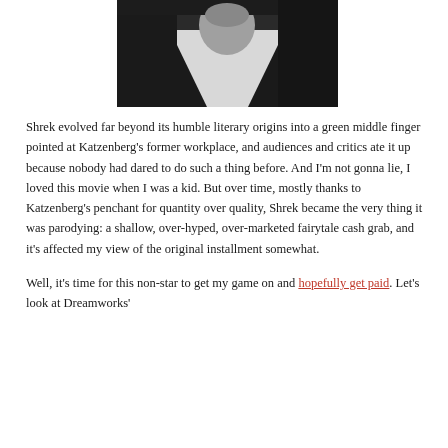[Figure (photo): Black and white photograph of a person, cropped to show neck and lower face area, wearing a white shirt and dark jacket.]
Shrek evolved far beyond its humble literary origins into a green middle finger pointed at Katzenberg’s former workplace, and audiences and critics ate it up because nobody had dared to do such a thing before. And I’m not gonna lie, I loved this movie when I was a kid. But over time, mostly thanks to Katzenberg’s penchant for quantity over quality, Shrek became the very thing it was parodying: a shallow, over-hyped, over-marketed fairytale cash grab, and it’s affected my view of the original installment somewhat.
Well, it’s time for this non-star to get my game on and hopefully get paid. Let’s look at Dreamworks’